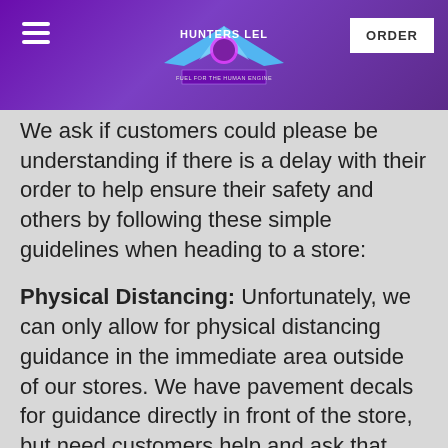Hunters Lel — ORDER
We ask if customers could please be understanding if there is a delay with their order to help ensure their safety and others by following these simple guidelines when heading to a store:
Physical Distancing: Unfortunately, we can only allow for physical distancing guidance in the immediate area outside of our stores. We have pavement decals for guidance directly in front of the store, but need customers help and ask that they use their best judgement and follow the 2m rule if a queue forms. We will also have staff stationed at the store front